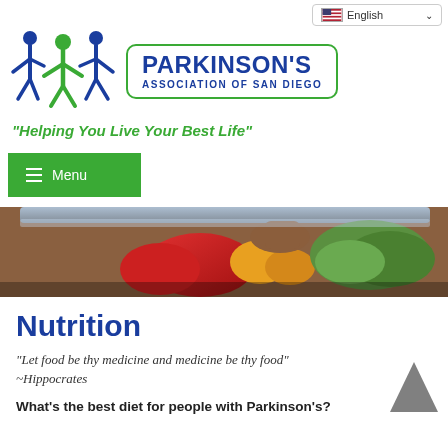[Figure (logo): Parkinson's Association of San Diego logo with three human figures in blue and green, next to a bordered text box reading PARKINSON'S ASSOCIATION OF SAN DIEGO]
"Helping You Live Your Best Life"
≡ Menu
[Figure (photo): Close-up photo of colorful fresh vegetables and produce in a refrigerator or storage container, including red peppers and green leafy vegetables]
Nutrition
"Let food be thy medicine and medicine be thy food" ~Hippocrates
What's the best diet for people with Parkinson's?